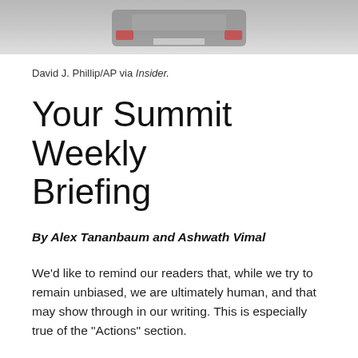[Figure (photo): Cropped photo showing the rear of a vehicle in wintry/foggy conditions, partially visible at the top of the page.]
David J. Phillip/AP via Insider.
Your Summit Weekly Briefing
By Alex Tananbaum and Ashwath Vimal
We'd like to remind our readers that, while we try to remain unbiased, we are ultimately human, and that may show through in our writing. This is especially true of the “Actions” section.